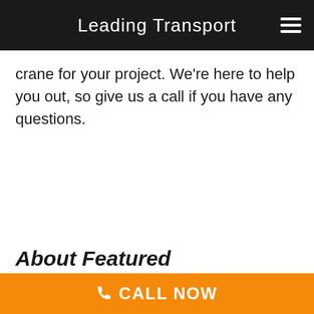Leading Transport
crane for your project. We're here to help you out, so give us a call if you have any questions.
About Featured
CALL NOW